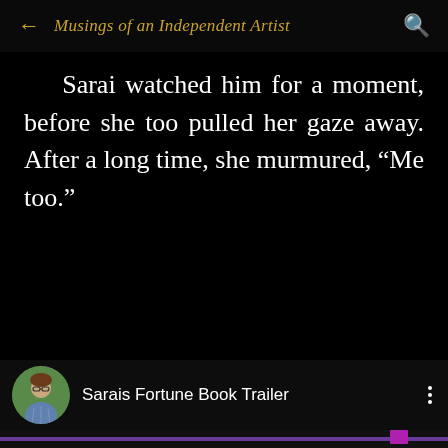Musings of an Independent Artist
Sarai watched him for a moment, before she too pulled her gaze away. After a long time, she murmured, “Me too.”
[Figure (screenshot): Video card thumbnail showing a circular avatar photo of a woman with glasses, outdoors background]
Sarais Fortune Book Trailer